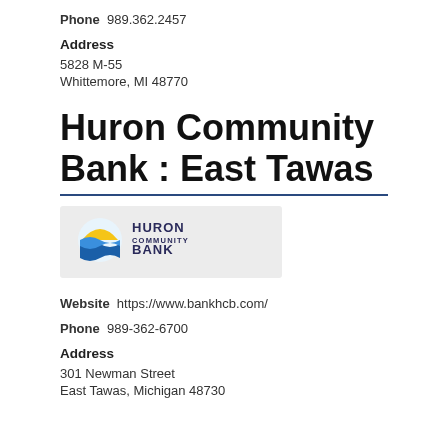Phone  989.362.2457
Address
5828 M-55
Whittemore, MI 48770
Huron Community Bank : East Tawas
[Figure (logo): Huron Community Bank logo featuring a circular icon with a yellow sun and blue waves, alongside text 'HURON COMMUNITY BANK']
Website  https://www.bankhcb.com/
Phone  989-362-6700
Address
301 Newman Street
East Tawas, Michigan 48730